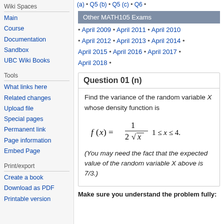(a) • Q5 (b) • Q5 (c) • Q6 •
Other MATH105 Exams
April 2009 • April 2011 • April 2010
April 2012 • April 2013 • April 2014 • April 2015 • April 2016 • April 2017 • April 2018 •
Wiki Spaces
Main
Course
Documentation
Sandbox
UBC Wiki Books
Tools
What links here
Related changes
Upload file
Special pages
Permanent link
Page information
Embed Page
Print/export
Create a book
Download as PDF
Printable version
Question 01 (n)
Find the variance of the random variable X whose density function is
(You may need the fact that the expected value of the random variable X above is 7/3.)
Make sure you understand the problem fully: